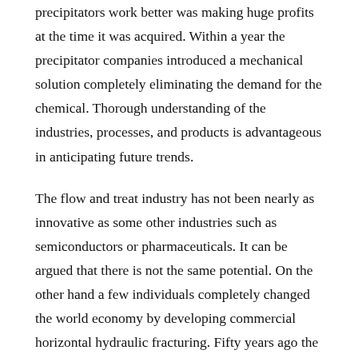precipitators work better was making huge profits at the time it was acquired. Within a year the precipitator companies introduced a mechanical solution completely eliminating the demand for the chemical. Thorough understanding of the industries, processes, and products is advantageous in anticipating future trends.
The flow and treat industry has not been nearly as innovative as some other industries such as semiconductors or pharmaceuticals. It can be argued that there is not the same potential. On the other hand a few individuals completely changed the world economy by developing commercial horizontal hydraulic fracturing. Fifty years ago the conversion of flue gas and liquids to a toothpaste type foam was achieved. The mass transfer from gas to liquid is 1000